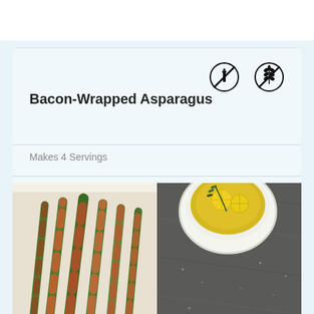Bacon-Wrapped Asparagus
[Figure (illustration): No-bottle icon (alcohol-free or dairy-free symbol) - circle with bottle crossed out]
[Figure (illustration): No-gluten icon (gluten-free symbol) - circle with wheat crossed out]
Makes 4 Servings
[Figure (photo): Bacon-wrapped asparagus bundles on a white surface, showing crispy bacon wrapped around green asparagus spears]
[Figure (photo): Bowl of olive oil with rosemary and lemon slices on a dark cloth/stone surface]